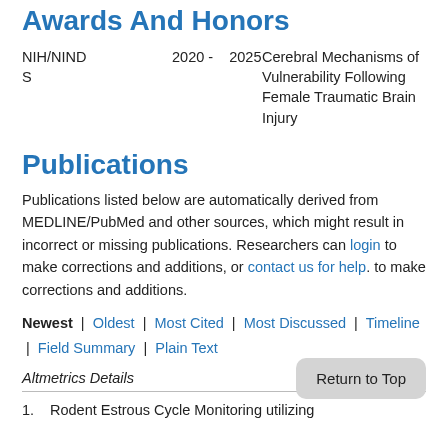Awards And Honors
NIH/NIND S  2020 - 2025  Cerebral Mechanisms of Vulnerability Following Female Traumatic Brain Injury
Publications
Publications listed below are automatically derived from MEDLINE/PubMed and other sources, which might result in incorrect or missing publications. Researchers can login to make corrections and additions, or contact us for help. to make corrections and additions.
Newest | Oldest | Most Cited | Most Discussed | Timeline | Field Summary | Plain Text
Altmetrics Details
1. Rodent Estrous Cycle Monitoring utilizing